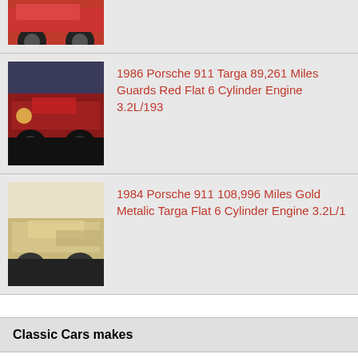[Figure (photo): Partial view of a red Porsche 911, top of image cropped]
[Figure (photo): 1986 Porsche 911 Targa in Guards Red, front 3/4 view]
1986 Porsche 911 Targa 89,261 Miles Guards Red Flat 6 Cylinder Engine 3.2L/193
[Figure (photo): 1984 Porsche 911 in Gold Metallic Targa, front 3/4 view]
1984 Porsche 911 108,996 Miles Gold Metalic Targa Flat 6 Cylinder Engine 3.2L/1
Classic Cars makes
Acura
Alfa Romeo
AMC
Aston Martin
Auburn
Audi
Austin
Austin Healey
Buick